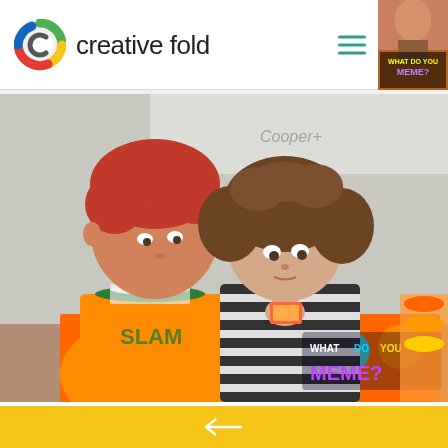[Figure (logo): Creative Fold logo with colorful C icon and text 'creative fold']
[Figure (photo): Two children looking at a colorful board game 'What Do You Meme?' on a table. An older red-haired boy wearing a green/white/orange basketball jersey leans over a younger girl with curly brown hair wearing a black and white striped top. Text on whiteboard behind them reads 'Cooper'. The game box logo 'WHAT DO YOU MEME?' is visible in the lower right corner of the photo.]
[Figure (screenshot): Yellow/orange navigation bar at bottom with a left-pointing arrow in white]